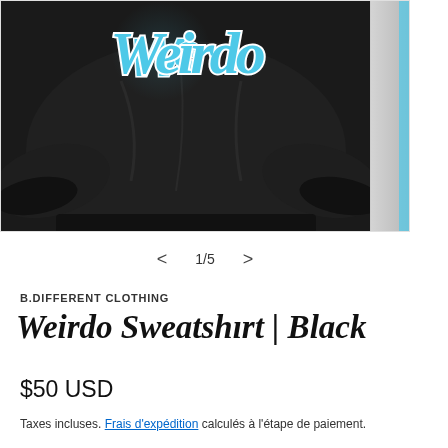[Figure (photo): Black sweatshirt with blue cursive logo/text on front, shown folded, partially cropped view. A second image is partially visible to the right.]
1/5
B.DIFFERENT CLOTHING
Weirdo Sweatshirt | Black
$50 USD
Taxes incluses. Frais d'expédition calculés à l'étape de paiement.